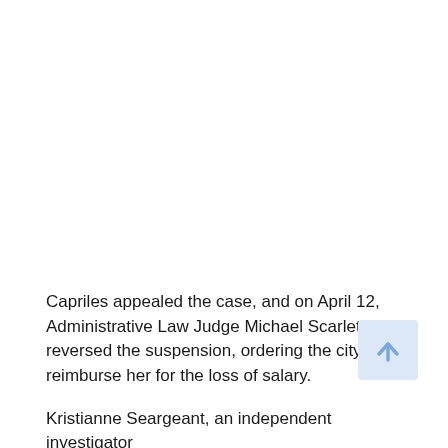Capriles appealed the case, and on April 12, Administrative Law Judge Michael Scarlett reversed the suspension, ordering the city to reimburse her for the loss of salary.
Kristianne Seargeant, an independent investigator